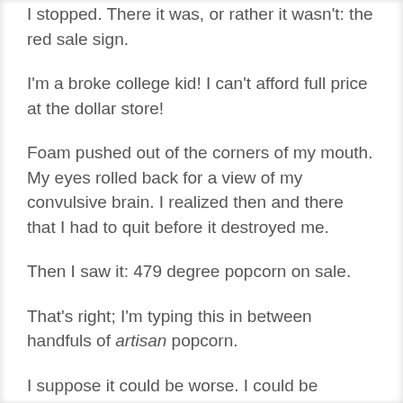I stopped. There it was, or rather it wasn't: the red sale sign.
I'm a broke college kid! I can't afford full price at the dollar store!
Foam pushed out of the corners of my mouth. My eyes rolled back for a view of my convulsive brain. I realized then and there that I had to quit before it destroyed me.
Then I saw it: 479 degree popcorn on sale.
That's right; I'm typing this in between handfuls of artisan popcorn.
I suppose it could be worse. I could be addicted to marijuana. Or One Direction.